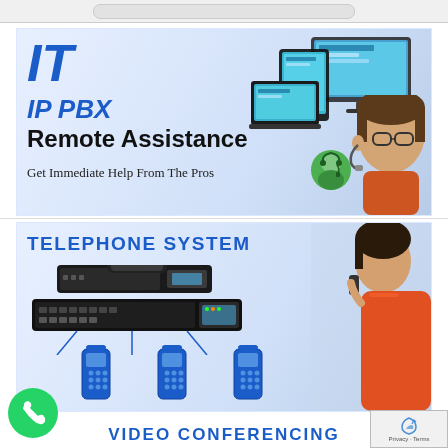[Figure (screenshot): Top browser search bar area, gray rounded rectangle]
[Figure (infographic): IT / IP PBX Remote Assistance banner with blue italic IT and IP PBX text, bold black Remote Assistance, person with glasses and customer support avatar, computer screens]
IT
IP PBX
Remote Assistance
Get Immediate Help From The Pros
[Figure (infographic): Telephone System banner with PBX hardware rack units, desk phones connected, woman on phone, blue telephone icons]
TELEPHONE SYSTEM
VIDEO CONFERENCING
[Figure (logo): WhatsApp green circle icon bottom left]
[Figure (screenshot): Privacy - Terms overlay bottom right with reCAPTCHA logo and up arrow]